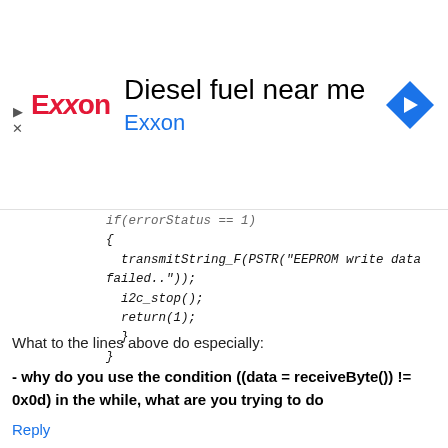[Figure (screenshot): Exxon advertisement banner with logo, 'Diesel fuel near me' title, navigation icon]
if(errorStatus == 1)
{
    transmitString_F(PSTR("EEPROM write data failed.."));
    i2c_stop();
    return(1);
}
}
What to the lines above do especially:
- why do you use the condition ((data = receiveByte()) != 0x0d) in the while, what are you trying to do
From that section I figure your trying to read each character being entered from the terminal but i've not yet figured out how your doing it.
Reply